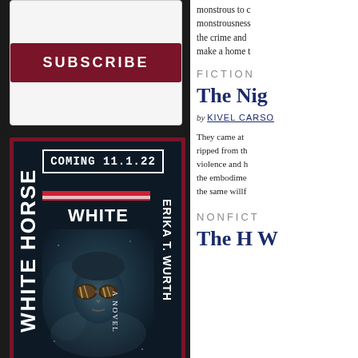[Figure (illustration): Subscribe button with dark red/maroon background and white bold uppercase text reading SUBSCRIBE]
[Figure (photo): Book cover for White Horse by Erika T. Wurth. Dark cover with a figure wearing reflective goggles/glasses. Text reads COMING 11.1.22, WHITE HORSE, A NOVEL. Vertical text on sides reads WHITE HORSE and ERIKA T. WURTH. Red progress bar element below coming soon banner.]
monstrous to c monstrousness the crime and make a home t
FICTION
The Nig
by KIVEL CARSO
They came at ripped from th violence and h the embodime the same willf
NONFICT
The H W